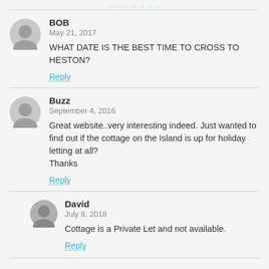…………………
BOB
May 21, 2017
WHAT DATE IS THE BEST TIME TO CROSS TO HESTON?
Reply
Buzz
September 4, 2016
Great website..very interesting indeed. Just wanted to find out if the cottage on the Island is up for holiday letting at all?
Thanks
Reply
David
July 8, 2018
Cottage is a Private Let and not available.
Reply